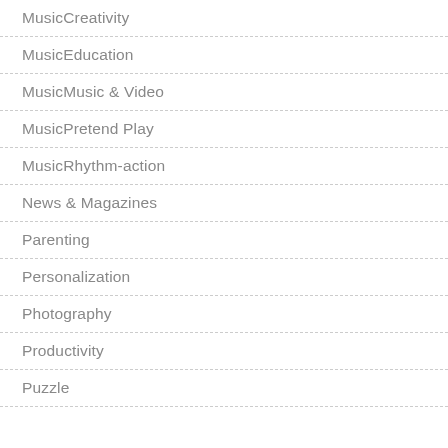MusicCreativity
MusicEducation
MusicMusic & Video
MusicPretend Play
MusicRhythm-action
News & Magazines
Parenting
Personalization
Photography
Productivity
Puzzle